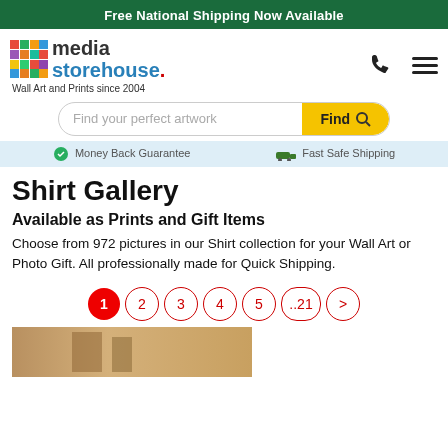Free National Shipping Now Available
[Figure (logo): Media Storehouse logo with colorful grid squares and text 'media storehouse. Wall Art and Prints since 2004']
Find your perfect artwork
Money Back Guarantee  Fast Safe Shipping
Shirt Gallery
Available as Prints and Gift Items
Choose from 972 pictures in our Shirt collection for your Wall Art or Photo Gift. All professionally made for Quick Shipping.
1 2 3 4 5 ..21 >
[Figure (photo): Partial thumbnail of a shirt gallery image]